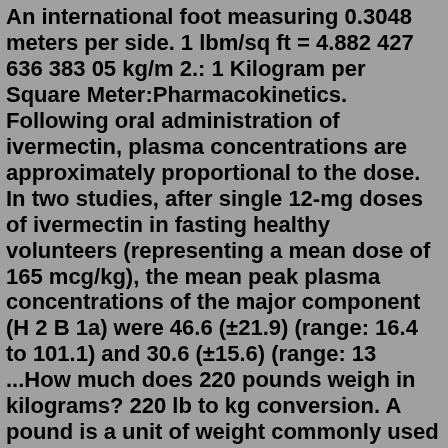An international foot measuring 0.3048 meters per side. 1 lbm/sq ft = 4.882 427 636 383 05 kg/m 2.: 1 Kilogram per Square Meter:Pharmacokinetics. Following oral administration of ivermectin, plasma concentrations are approximately proportional to the dose. In two studies, after single 12-mg doses of ivermectin in fasting healthy volunteers (representing a mean dose of 165 mcg/kg), the mean peak plasma concentrations of the major component (H 2 B 1a) were 46.6 (±21.9) (range: 16.4 to 101.1) and 30.6 (±15.6) (range: 13 ...How much does 220 pounds weigh in kilograms? 220 lb to kg conversion. A pound is a unit of weight commonly used in the United States and the British commonwealths. A pound is defined as exactly 0.45359237 kilograms. The kilogram, or kilogramme, is the base unit of weight in the Metric system. Quick and easy pounds to kilograms conversion. If you're just trying to convert pounds to kilograms for cooking or to know your own weight, there's a handy rule of thumb you can use: To get kilograms, divide by 2 then take off 1/10th of your